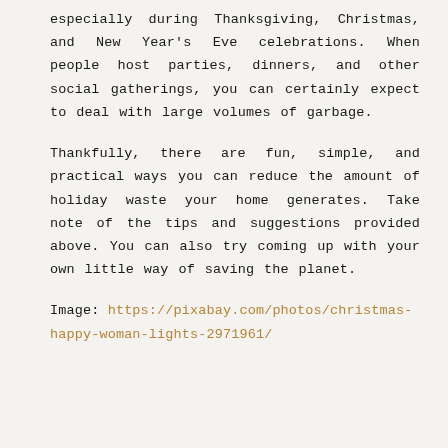especially during Thanksgiving, Christmas, and New Year's Eve celebrations. When people host parties, dinners, and other social gatherings, you can certainly expect to deal with large volumes of garbage.
Thankfully, there are fun, simple, and practical ways you can reduce the amount of holiday waste your home generates. Take note of the tips and suggestions provided above. You can also try coming up with your own little way of saving the planet.
Image: https://pixabay.com/photos/christmas-happy-woman-lights-2971961/